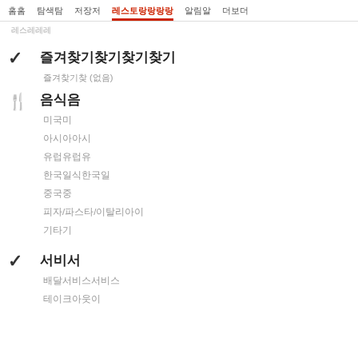홈  탐색  저장  레스토랑  알림  더보기
레스토랑
✓ 즐겨찾기
즐겨찾기 (없음)
🍴 음식
미국
아시아
유럽
한국/일식
중국
피자/파스타/이탈리아
기타
✓ 서비스
배달서비스
테이크아웃